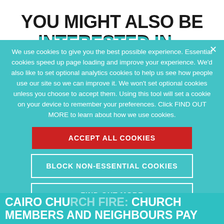YOU MIGHT ALSO BE INTERESTED IN...
We use cookies to give you the best possible experience. Essential cookies speed up page loading and improve your experience. We'd also like to set optional analytics cookies to help us see how people use our site so we can improve it. We won't set optional cookies unless you choose to accept them. Using this tool will set a cookie on your device to remember your preferences. Click FIND OUT MORE to learn about how we use cookies.
ACCEPT ALL COOKIES
BLOCK NON-ESSENTIAL COOKIES
FIND OUT MORE
CAIRO CHURCH FIRE: CHURCH MEMBERS AND NEIGHBOURS PAY